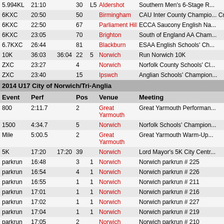| Event | Perf |  | Pos |  | Venue | Meeting |
| --- | --- | --- | --- | --- | --- | --- |
| 5.994KL | 21:10 |  | 30 | L5 | Aldershot | Southern Men's 6-Stage R... |
| 6KXC | 20:50 |  | 50 |  | Birmingham | CAU Inter County Champio... Cross Challenge) |
| 6KXC | 22:50 |  | 67 |  | Parliament Hill | ECCA Saucony English Na... |
| 6KXC | 23:05 |  | 70 |  | Brighton | South of England AA Cham... |
| 6.7KXC | 26:44 |  | 81 |  | Blackburn | ESAA English Schools' Ch... |
| 10K | 36:03 | 36:04 | 22 | 5 | Norwich | Run Norwich 10K |
| ZXC | 23:27 |  | 4 |  | Norwich | Norfolk County Schools' Cl... |
| ZXC | 23:40 |  | 15 |  | Ipswch | Anglian Schools' Champion... |
2014 U17 City of Norwich/Tri-Anglia
| Event | Perf |  | Pos |  | Venue | Meeting |
| --- | --- | --- | --- | --- | --- | --- |
| 800 | 2:11.7 |  | 2 |  | Great Yarmouth | Great Yarmouth Performan... |
| 1500 | 4:34.7 |  | 5 |  | Norwich | Norfolk Schools' Champion... |
| Mile | 5:00.5 |  | 2 |  | Great Yarmouth | Great Yarmouth Warm-Up... |
| 5K | 17:20 | 17:20 | 39 |  | Norwich | Lord Mayor's 5K City Centr... |
| parkrun | 16:48 |  | 3 | 1 | Norwich | Norwich parkrun # 225 |
| parkrun | 16:54 |  | 4 | 1 | Norwich | Norwich parkrun # 226 |
| parkrun | 16:55 |  | 1 | 1 | Norwich | Norwich parkrun # 211 |
| parkrun | 17:01 |  | 1 | 1 | Norwich | Norwich parkrun # 216 |
| parkrun | 17:02 |  | 1 | 1 | Norwich | Norwich parkrun # 227 |
| parkrun | 17:04 |  | 1 | 1 | Norwich | Norwich parkrun # 219 |
| parkrun | 17:05 |  | 2 |  | Norwich | Norwich parkrun # 210 |
| parkrun | 17:07 |  | 2 | 1 | Norwich | Norwich parkrun # 207 |
| parkrun | 17:11 |  | 1 | 1 | Norwich | Norwich parkrun # 214 |